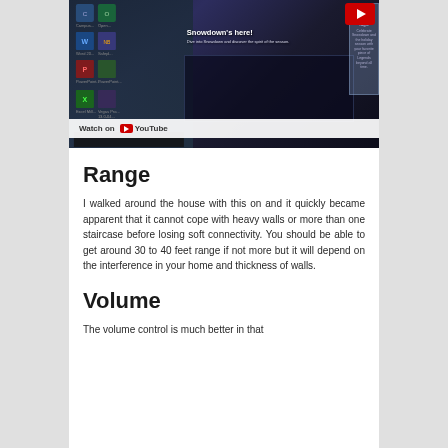[Figure (screenshot): A YouTube video thumbnail/embed showing 'Snowdown's here!' League of Legends content on a Windows desktop background, with a 'Watch on YouTube' overlay bar and a red YouTube play button badge in the top-right corner.]
Range
I walked around the house with this on and it quickly became apparent that it cannot cope with heavy walls or more than one staircase before losing soft connectivity. You should be able to get around 30 to 40 feet range if not more but it will depend on the interference in your home and thickness of walls.
Volume
The volume control is much better in that